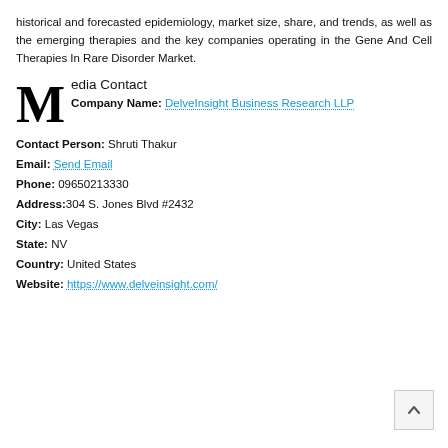historical and forecasted epidemiology, market size, share, and trends, as well as the emerging therapies and the key companies operating in the Gene And Cell Therapies In Rare Disorder Market.
Media Contact
Company Name: DelveInsight Business Research LLP
Contact Person: Shruti Thakur
Email: Send Email
Phone: 09650213330
Address:304 S. Jones Blvd #2432
City: Las Vegas
State: NV
Country: United States
Website: https://www.delveinsight.com/